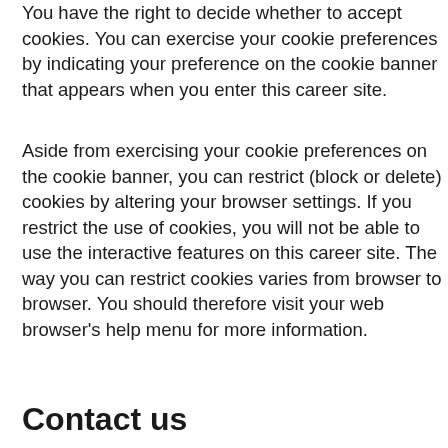You have the right to decide whether to accept cookies. You can exercise your cookie preferences by indicating your preference on the cookie banner that appears when you enter this career site.
Aside from exercising your cookie preferences on the cookie banner, you can restrict (block or delete) cookies by altering your browser settings. If you restrict the use of cookies, you will not be able to use the interactive features on this career site. The way you can restrict cookies varies from browser to browser. You should therefore visit your web browser's help menu for more information.
Contact us